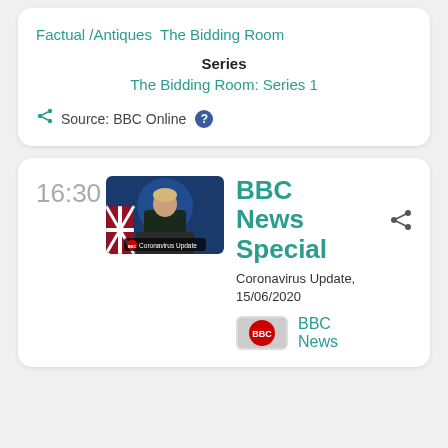Factual /Antiques  The Bidding Room
Series
The Bidding Room: Series 1
Source: BBC Online
16:30
[Figure (photo): Photo of a man at a podium with a UK flag and a Coronavirus Update banner overlay]
BBC News Special
Coronavirus Update, 15/06/2020
[Figure (logo): BBC News circular logo]
BBC News